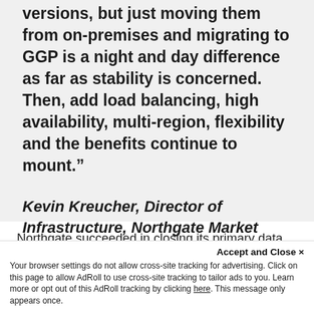versions, but just moving them from on-premises and migrating to GGP is a night and day difference as far as stability is concerned. Then, add load balancing, high availability, multi-region, flexibility and the benefits continue to mount.”
Kevin Kreucher, Director of Infrastructure, Northgate Market
Northgate succeeded in closing its primary data center in Mesa, AZ, its secondary redundant data center in Anaheim,
Accept and Close ×
Your browser settings do not allow cross-site tracking for advertising. Click on this page to allow AdRoll to use cross-site tracking to tailor ads to you. Learn more or opt out of this AdRoll tracking by clicking here. This message only appears once.